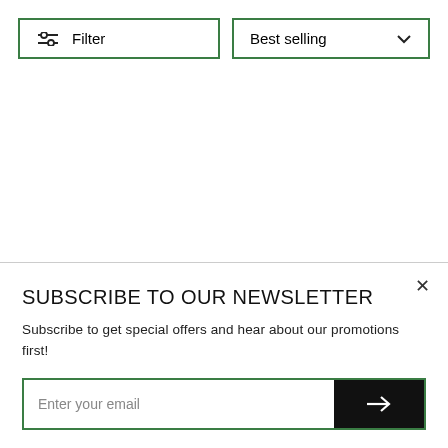[Figure (screenshot): Filter button with sliders icon and green border]
[Figure (screenshot): Best selling dropdown with green border and chevron]
SEIKO QUARTZ
SEIKO QUARTZ
SUBSCRIBE TO OUR NEWSLETTER
Subscribe to get special offers and hear about our promotions first!
Enter your email